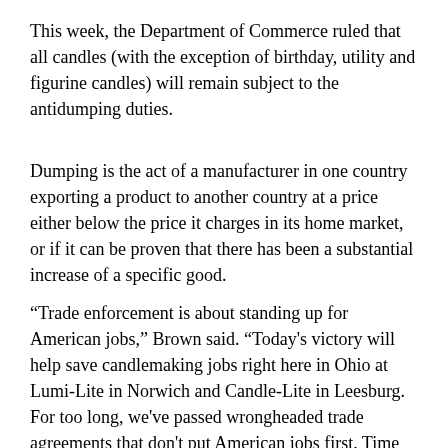This week, the Department of Commerce ruled that all candles (with the exception of birthday, utility and figurine candles) will remain subject to the antidumping duties.
Dumping is the act of a manufacturer in one country exporting a product to another country at a price either below the price it charges in its home market, or if it can be proven that there has been a substantial increase of a specific good.
“Trade enforcement is about standing up for American jobs,” Brown said. “Today’s victory will help save candlemaking jobs right here in Ohio at Lumi-Lite in Norwich and Candle-Lite in Leesburg. For too long, we’ve passed wrongheaded trade agreements that don’t put American jobs first. Time and time again, countries like China have flouted trade laws by manipulating currency and subsidizing domestic industries; moves that have made it harder for American manufacturers